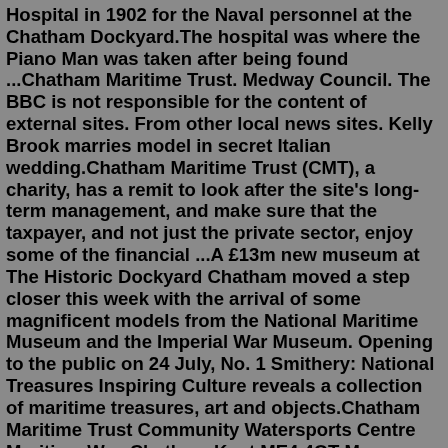Hospital in 1902 for the Naval personnel at the Chatham Dockyard.The hospital was where the Piano Man was taken after being found ...Chatham Maritime Trust. Medway Council. The BBC is not responsible for the content of external sites. From other local news sites. Kelly Brook marries model in secret Italian wedding.Chatham Maritime Trust (CMT), a charity, has a remit to look after the site's long-term management, and make sure that the taxpayer, and not just the private sector, enjoy some of the financial ...A £13m new museum at The Historic Dockyard Chatham moved a step closer this week with the arrival of some magnificent models from the National Maritime Museum and the Imperial War Museum. Opening to the public on 24 July, No. 1 Smithery: National Treasures Inspiring Culture reveals a collection of maritime treasures, art and objects.Chatham Maritime Trust Community Watersports Centre Maritime Way Chatham Kent ME4 4QT Map. Capacity 24 Kitchen No - cafe on site Restrictions No smoking. No alcohol. Disabled Access